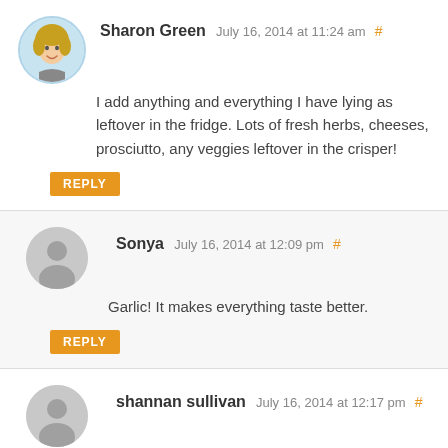Sharon Green July 16, 2014 at 11:24 am #
I add anything and everything I have lying as leftover in the fridge. Lots of fresh herbs, cheeses, prosciutto, any veggies leftover in the crisper!
REPLY
Sonya July 16, 2014 at 12:09 pm #
Garlic! It makes everything taste better.
REPLY
shannan sullivan July 16, 2014 at 12:17 pm #
bacon, oregano shallots & parmesan cheese with a dash of pepper
REPLY